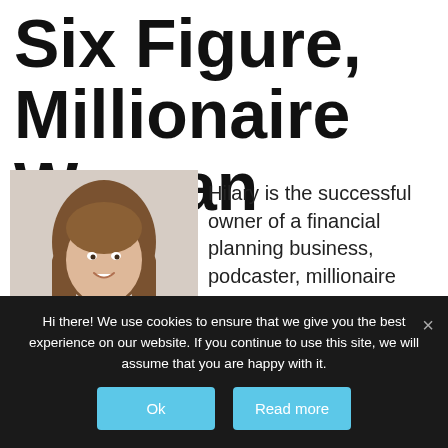Six Figure, Millionaire Woman
[Figure (photo): Headshot of Hilary Hendershott, a woman with long brown hair, smiling, wearing a dark top. Black name bar below reads HILARY HENDERSHOTT.]
Hilary is the successful owner of a financial planning business, podcaster, millionaire
Hi there! We use cookies to ensure that we give you the best experience on our website. If you continue to use this site, we will assume that you are happy with it.